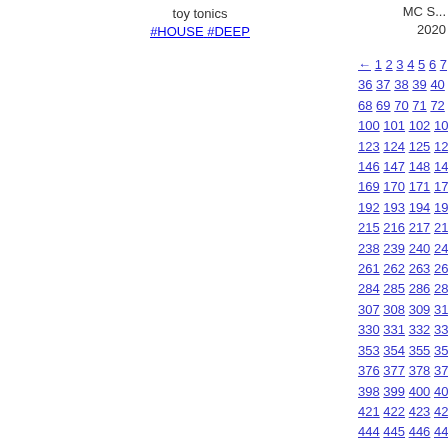toy tonics
#HOUSE #DEEP
MC S...
2020
← 1 2 3 4 5 6 7 8 9 10 11 12 13 14 15 16 17 18 19... 36 37 38 39 40 41 42 43 44 45 46 47 48 49 50 51... 68 69 70 71 72 73 74 75 76 77 78 79 80 81 82 83... [381] pagination navigation